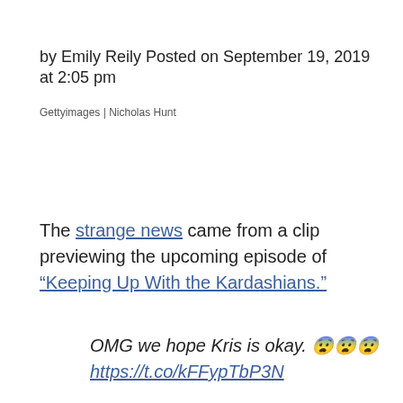by Emily Reily Posted on September 19, 2019 at 2:05 pm
Gettyimages | Nicholas Hunt
The strange news came from a clip previewing the upcoming episode of “Keeping Up With the Kardashians.”
OMG we hope Kris is okay. 😨😨😨
https://t.co/kFFypTbP3N